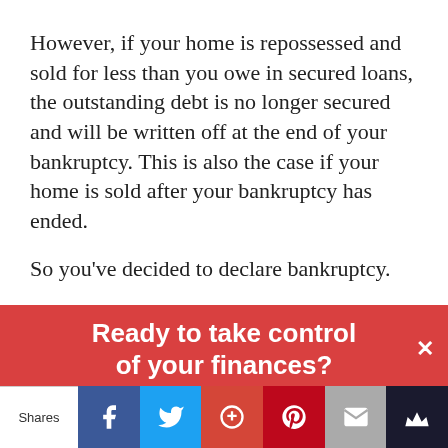However, if your home is repossessed and sold for less than you owe in secured loans, the outstanding debt is no longer secured and will be written off at the end of your bankruptcy. This is also the case if your home is sold after your bankruptcy has ended.
So you've decided to declare bankruptcy.
[Figure (infographic): Red promotional banner overlay reading 'Ready to take control of your finances?' with a white X close button on the right.]
This website uses cookies to improve your experience. We'll assume you're ok with this, but you can opt-out if
[Figure (infographic): Social share bar showing Shares label, then Facebook, Twitter, Google+, Pinterest, Email, and Crown/bookmark buttons.]